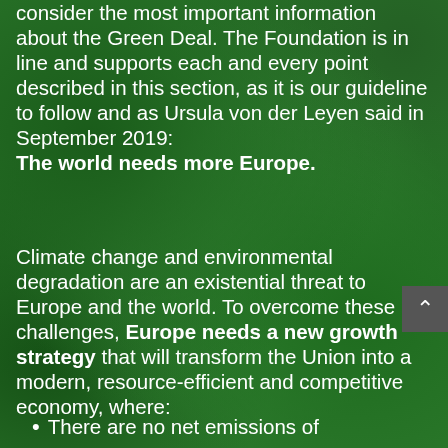consider the most important information about the Green Deal. The Foundation is in line and supports each and every point described in this section, as it is our guideline to follow and as Ursula von der Leyen said in September 2019: The world needs more Europe.
Climate change and environmental degradation are an existential threat to Europe and the world. To overcome these challenges, Europe needs a new growth strategy that will transform the Union into a modern, resource-efficient and competitive economy, where:
There are no net emissions of